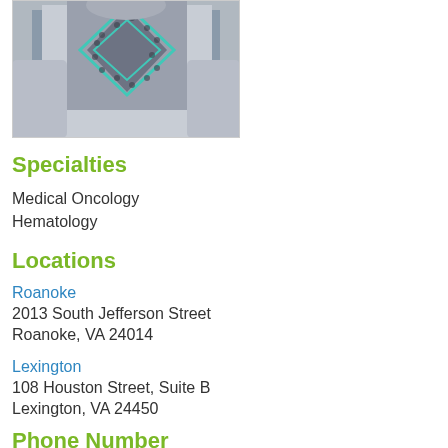[Figure (photo): Photo of a person wearing a patterned sweater with geometric/diamond design in grey, black and teal colors]
Specialties
Medical Oncology
Hematology
Locations
Roanoke
2013 South Jefferson Street
Roanoke, VA 24014
Lexington
108 Houston Street, Suite B
Lexington, VA 24450
Phone Number